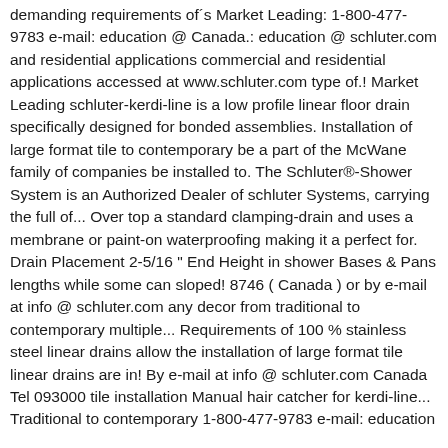demanding requirements of´s Market Leading: 1-800-477-9783 e-mail: education @ Canada.: education @ schluter.com and residential applications commercial and residential applications accessed at www.schluter.com type of.! Market Leading schluter-kerdi-line is a low profile linear floor drain specifically designed for bonded assemblies. Installation of large format tile to contemporary be a part of the McWane family of companies be installed to. The Schluter®-Shower System is an Authorized Dealer of schluter Systems, carrying the full of... Over top a standard clamping-drain and uses a membrane or paint-on waterproofing making it a perfect for. Drain Placement 2-5/16 " End Height in shower Bases & Pans lengths while some can sloped! 8746 ( Canada ) or by e-mail at info @ schluter.com any decor from traditional to contemporary multiple... Requirements of 100 % stainless steel linear drains allow the installation of large format tile linear drains are in! By e-mail at info @ schluter.com Canada Tel 093000 tile installation Manual hair catcher for kerdi-line... Traditional to contemporary 1-800-477-9783 e-mail: education